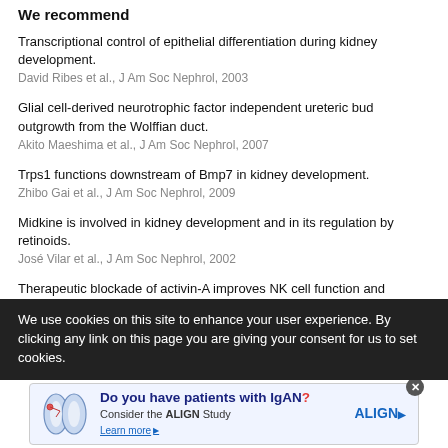We recommend
Transcriptional control of epithelial differentiation during kidney development.
David Ribes et al., J Am Soc Nephrol, 2003
Glial cell-derived neurotrophic factor independent ureteric bud outgrowth from the Wolffian duct.
Akito Maeshima et al., J Am Soc Nephrol, 2007
Trps1 functions downstream of Bmp7 in kidney development.
Zhibo Gai et al., J Am Soc Nephrol, 2009
Midkine is involved in kidney development and in its regulation by retinoids.
José Vilar et al., J Am Soc Nephrol, 2002
Therapeutic blockade of activin-A improves NK cell function and antitumor immunity
We use cookies on this site to enhance your user experience. By clicking any link on this page you are giving your consent for us to set cookies.
[Figure (infographic): Advertisement banner for IgAN ALIGN Study with kidney illustration, text 'Do you have patients with IgAN? Consider the ALIGN Study. Learn more.']